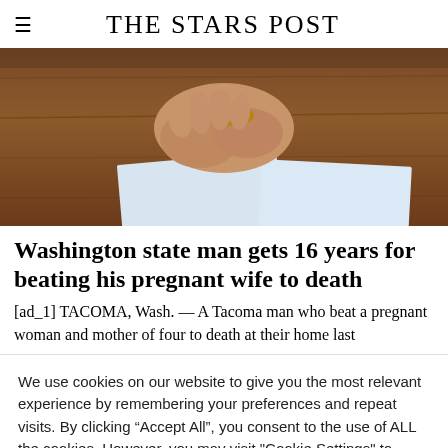THE STARS POST
[Figure (photo): Close-up photo of hands resting on a wooden surface with papers and a bracelet visible]
Washington state man gets 16 years for beating his pregnant wife to death
[ad_1] TACOMA, Wash. — A Tacoma man who beat a pregnant woman and mother of four to death at their home last
We use cookies on our website to give you the most relevant experience by remembering your preferences and repeat visits. By clicking "Accept All", you consent to the use of ALL the cookies. However, you may visit "Cookie Settings" to provide a controlled consent.